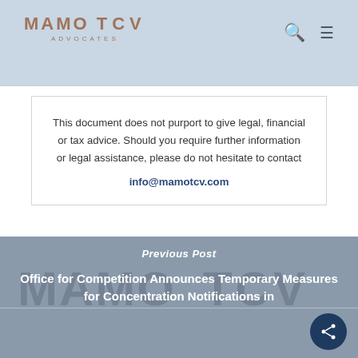MAMO TCV ADVOCATES
This document does not purport to give legal, financial or tax advice. Should you require further information or legal assistance, please do not hesitate to contact info@mamotcv.com
Previous Post
Office for Competition Announces Temporary Measures for Concentration Notifications in